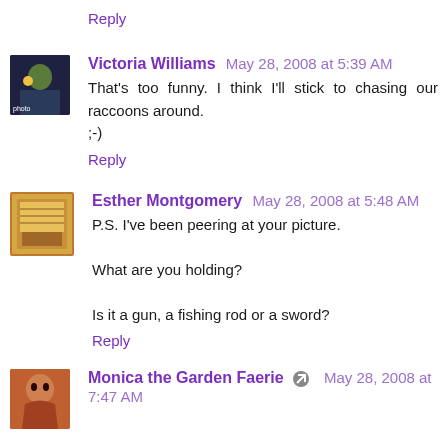Reply
[Figure (photo): Avatar photo of Victoria Williams]
Victoria Williams  May 28, 2008 at 5:39 AM
That's too funny. I think I'll stick to chasing our raccoons around.
;-)
Reply
[Figure (photo): Avatar image of Esther Montgomery - book cover style illustration]
Esther Montgomery  May 28, 2008 at 5:48 AM
P.S. I've been peering at your picture.

What are you holding?

Is it a gun, a fishing rod or a sword?
Reply
[Figure (photo): Avatar photo of Monica the Garden Faerie]
Monica the Garden Faerie  May 28, 2008 at 7:47 AM